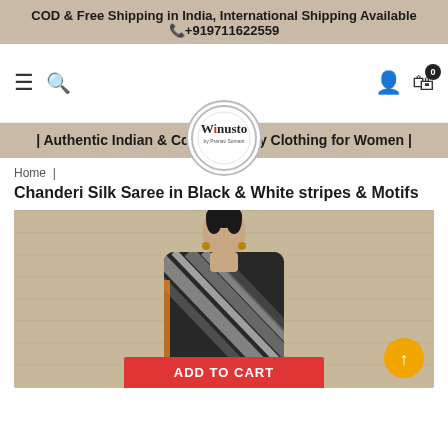COD & Free Shipping in India, International Shipping Available
📞+919711622559
[Figure (logo): Winusto by Pranav Somani circular logo]
| Authentic Indian & Contemporary Clothing for Women |
Home |
Chanderi Silk Saree in Black & White stripes & Motifs
[Figure (photo): Woman wearing a black and white striped Chanderi silk saree, standing against a stone-textured background]